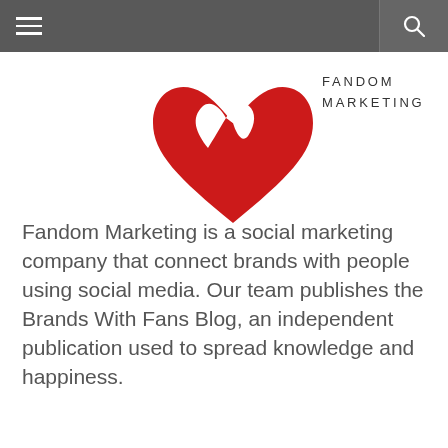≡  🔍
[Figure (logo): Fandom Marketing logo: a red stylized heart/ribbon shape]
FANDOM MARKETING
Fandom Marketing is a social marketing company that connect brands with people using social media. Our team publishes the Brands With Fans Blog, an independent publication used to spread knowledge and happiness.